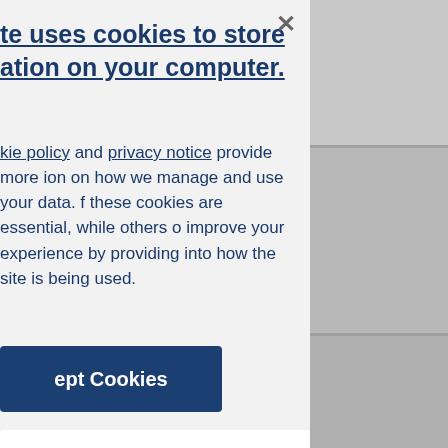te uses cookies to store ation on your computer.
kie policy and privacy notice provide more ion on how we manage and use your data. f these cookies are essential, while others o improve your experience by providing into how the site is being used.
ept Cookies
Not Accept Cookies
y Cookies